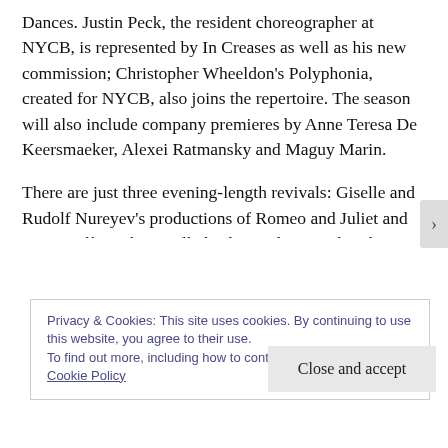Dances. Justin Peck, the resident choreographer at NYCB, is represented by In Creases as well as his new commission; Christopher Wheeldon's Polyphonia, created for NYCB, also joins the repertoire. The season will also include company premieres by Anne Teresa De Keersmaeker, Alexei Ratmansky and Maguy Marin.
There are just three evening-length revivals: Giselle and Rudolf Nureyev's productions of Romeo and Juliet and La Bayadère. There will also be works staged in the foyer of the Opéra Garnier. Choreographer Boris Charmatz will stage a new event to open the season, with 20 dancers performing solos from the 20th-
Privacy & Cookies: This site uses cookies. By continuing to use this website, you agree to their use.
To find out more, including how to control cookies, see here: Cookie Policy
Close and accept